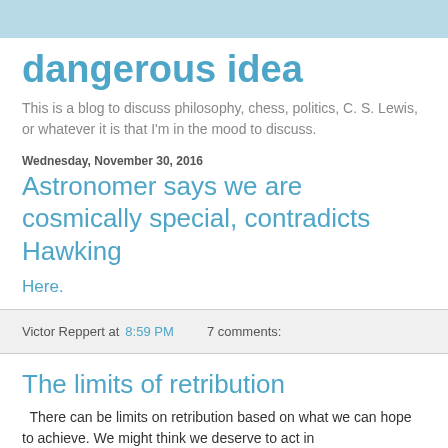dangerous idea
This is a blog to discuss philosophy, chess, politics, C. S. Lewis, or whatever it is that I'm in the mood to discuss.
Wednesday, November 30, 2016
Astronomer says we are cosmically special, contradicts Hawking
Here.
Victor Reppert at 8:59 PM   7 comments:
The limits of retribution
There can be limits on retribution based on what we can hope to achieve. We might think we deserve to act in